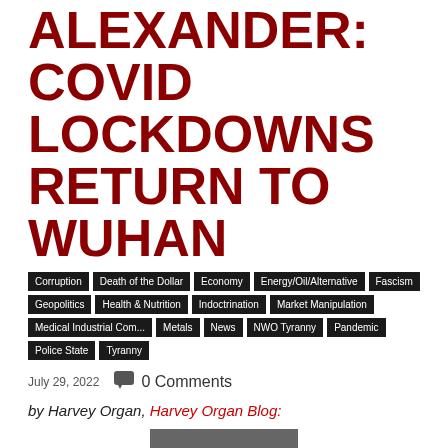ALEXANDER: COVID LOCKDOWNS RETURN TO WUHAN
Corruption
Death of the Dollar
Economy
Energy/Oil/Alternative
Fascism
Geopolitics
Health & Nutrition
Indoctrination
Market Manipulation
Medical Industrial Com...
Metals
News
NWO Tyranny
Pandemic
Police State
Tyranny
July 29, 2022   0 Comments
by Harvey Organ, Harvey Organ Blog:
[Figure (photo): Black and white photo of silver bars and coins stacked together]